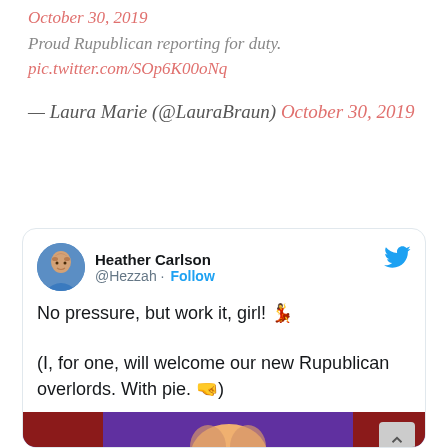October 30, 2019
Proud Rupublican reporting for duty. pic.twitter.com/SOp6K00oNq
— Laura Marie (@LauraBraun) October 30, 2019
[Figure (screenshot): Embedded tweet card from @Hezzah (Heather Carlson) with text: 'No pressure, but work it, girl! 💃 (I, for one, will welcome our new Rupublican overlords. With pie. 🤜)' with a Watch on Twitter video thumbnail below showing a person with blonde hair on a colorful background.]